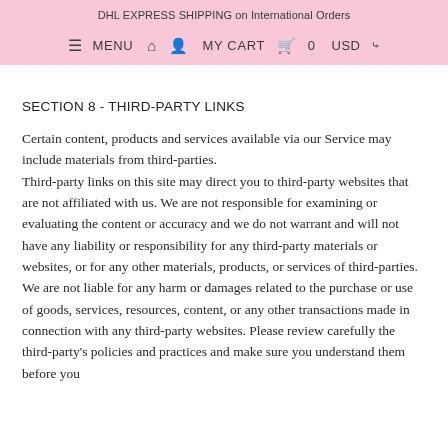DHL EXPRESS SHIPPING on International Orders
≡ MENU  🏠  👤  MY CART  🛒  0  USD ∨
SECTION 8 - THIRD-PARTY LINKS
Certain content, products and services available via our Service may include materials from third-parties. Third-party links on this site may direct you to third-party websites that are not affiliated with us. We are not responsible for examining or evaluating the content or accuracy and we do not warrant and will not have any liability or responsibility for any third-party materials or websites, or for any other materials, products, or services of third-parties. We are not liable for any harm or damages related to the purchase or use of goods, services, resources, content, or any other transactions made in connection with any third-party websites. Please review carefully the third-party's policies and practices and make sure you understand them before you